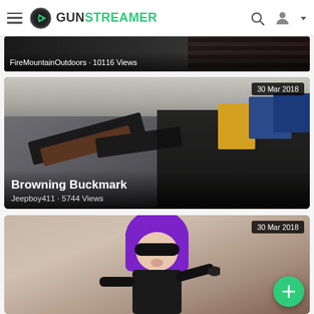GUNSTREAMER — navigation header with hamburger menu, logo, search icon, and user account icon
[Figure (screenshot): Partial video thumbnail (top cut off) showing dark background with text overlay: FireMountainOutdoors · 10116 Views]
FireMountainOutdoors · 10116 Views
[Figure (photo): Video thumbnail dated 30 Mar 2018 showing two handguns (revolver and semi-automatic pistol) with gun case and ammunition boxes on a surface. Title overlay: Browning Buckmark. Channel: Jeepboy411 · 5744 Views]
Browning Buckmark
Jeepboy411 · 5744 Views
[Figure (photo): Partial video thumbnail dated 30 Mar 2018 showing a person with purple hair and black mask costume pointing toward camera]